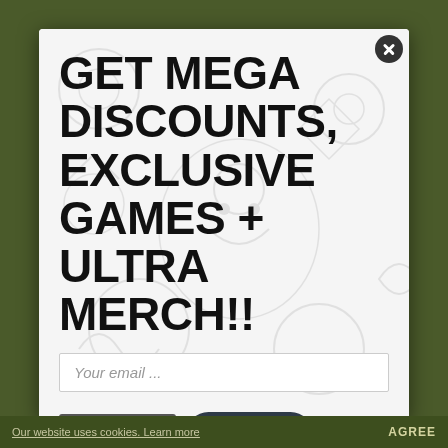[Figure (screenshot): A modal popup overlay on a dark olive-green background. The modal has a white/light background with cartoon character doodles (faded). It contains large bold black text and UI elements including a close button, email input, subscribe button, and chat button.]
GET MEGA DISCOUNTS, EXCLUSIVE GAMES + ULTRA MERCH!!
Your email ...
SUBSCRIBE
Chat with us
Our website uses cookies. Learn more   AGREE